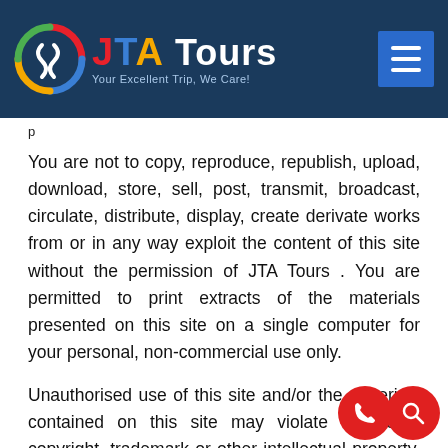[Figure (logo): JTA Tours logo with colorful circular icon, red J, blue T, gold A, white Tours text, and tagline 'Your Excellent Trip, We Care!' on dark navy background with hamburger menu button]
p
You are not to copy, reproduce, republish, upload, download, store, sell, post, transmit, broadcast, circulate, distribute, display, create derivate works from or in any way exploit the content of this site without the permission of JTA Tours . You are permitted to print extracts of the materials presented on this site on a single computer for your personal, non-commercial use only.
Unauthorised use of this site and/or the materials contained on this site may violate applicable copyright, trademark or other intellectual property, laws or other laws. You must retain all copyright and trademark notices, including any other proprietary notices, contained in the materials. The use of such materials on any other web site or in any environment of networked computers is prohibited. You are prohibited from posting or transmitting any unlawful, threatening, libellous, defamatory